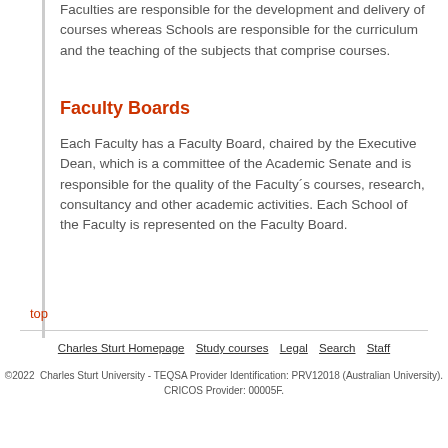Faculties are responsible for the development and delivery of courses whereas Schools are responsible for the curriculum and the teaching of the subjects that comprise courses.
Faculty Boards
Each Faculty has a Faculty Board, chaired by the Executive Dean, which is a committee of the Academic Senate and is responsible for the quality of the Faculty´s courses, research, consultancy and other academic activities. Each School of the Faculty is represented on the Faculty Board.
top
Charles Sturt Homepage | Study courses | Legal | Search | Staff
©2022 Charles Sturt University - TEQSA Provider Identification: PRV12018 (Australian University). CRICOS Provider: 00005F.